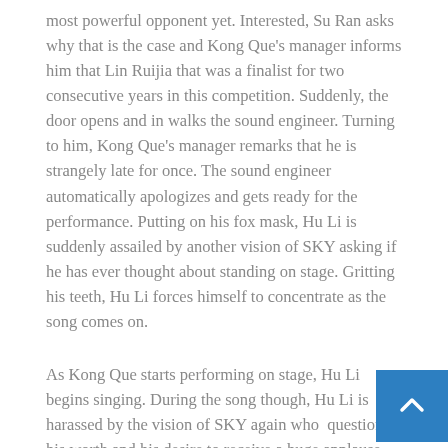most powerful opponent yet. Interested, Su Ran asks why that is the case and Kong Que's manager informs him that Lin Ruijia that was a finalist for two consecutive years in this competition. Suddenly, the door opens and in walks the sound engineer. Turning to him, Kong Que's manager remarks that he is strangely late for once. The sound engineer automatically apologizes and gets ready for the performance. Putting on his fox mask, Hu Li is suddenly assailed by another vision of SKY asking if he has ever thought about standing on stage. Gritting his teeth, Hu Li forces himself to concentrate as the song comes on.
As Kong Que starts performing on stage, Hu Li begins singing. During the song though, Hu Li is harassed by the vision of SKY again who questions his worth and his desire to receive a huge applause again. The sudden shock of SKY's question forces Hu Li to lose his concentration and his voice wavers a bit. Backstage, Lin Ruijia who is drinking some water immediately notices the waver and questions whether Kong Que is nervous. Smiling, Lin Ruijia becomes confident that his win is in the bag.